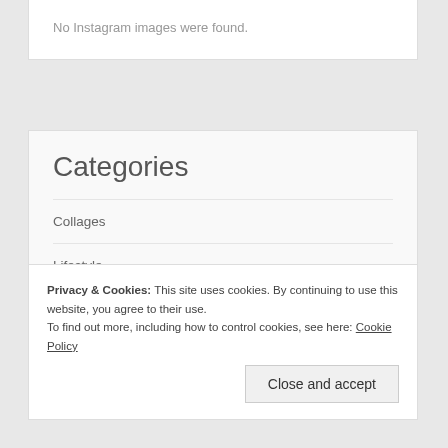No Instagram images were found.
Categories
Collages
Lifestyle
poetry
Short Stories
Privacy & Cookies: This site uses cookies. By continuing to use this website, you agree to their use.
To find out more, including how to control cookies, see here: Cookie Policy
Close and accept